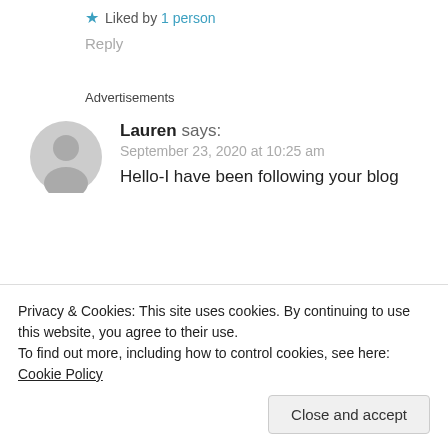Liked by 1 person
Reply
Advertisements
Lauren says: September 23, 2020 at 10:25 am
Hello-I have been following your blog
Privacy & Cookies: This site uses cookies. By continuing to use this website, you agree to their use. To find out more, including how to control cookies, see here: Cookie Policy
Close and accept